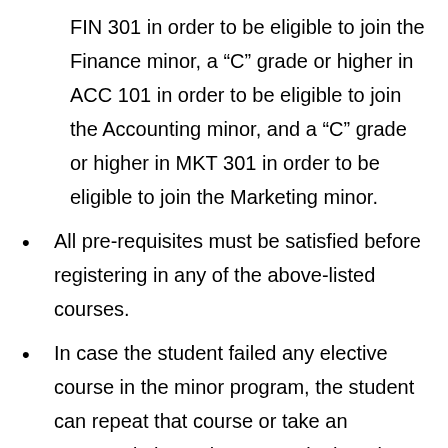FIN 301 in order to be eligible to join the Finance minor, a “C” grade or higher in ACC 101 in order to be eligible to join the Accounting minor, and a “C” grade or higher in MKT 301 in order to be eligible to join the Marketing minor.
All pre-requisites must be satisfied before registering in any of the above-listed courses.
In case the student failed any elective course in the minor program, the student can repeat that course or take an approved alternative course in the minor according to the above conditions.
All “minor” requirements must be completed before or in conjunction with the “major” requirements. Student who finishes all “major”